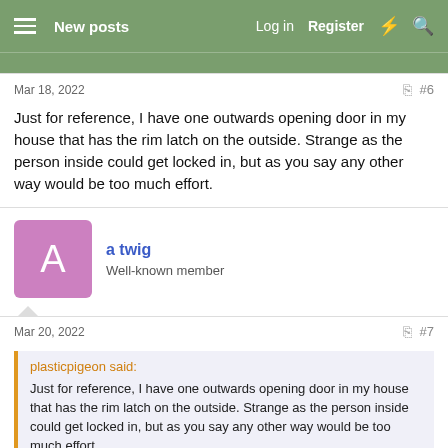New posts | Log in | Register
Mar 18, 2022
#6
Just for reference, I have one outwards opening door in my house that has the rim latch on the outside. Strange as the person inside could get locked in, but as you say any other way would be too much effort.
a twig
Well-known member
Mar 20, 2022
#7
plasticpigeon said:
Just for reference, I have one outwards opening door in my house that has the rim latch on the outside. Strange as the person inside could get locked in, but as you say any other way would be too much effort.